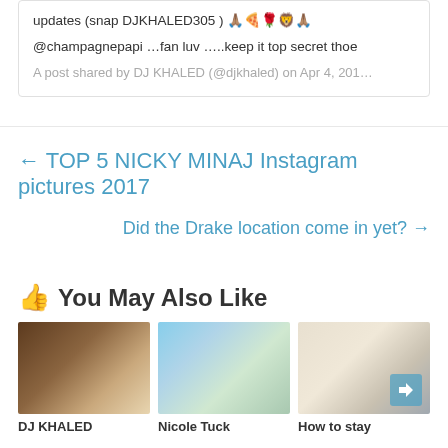updates (snap DJKHALED305 ) 🙏🏽🍕🌹🦁🙏🏽
@champagnepapi …fan luv …..keep it top secret thoe
A post shared by DJ KHALED (@djkhaled) on Apr 4, 201…
← TOP 5 NICKY MINAJ Instagram pictures 2017
Did the Drake location come in yet? →
👍 You May Also Like
[Figure (photo): Photo thumbnail 1 - person in white shirt]
[Figure (photo): Photo thumbnail 2 - people walking near plane]
[Figure (photo): Photo thumbnail 3 - man with open mouth, arrow overlay]
DJ KHALED
Nicole Tuck
How to stay